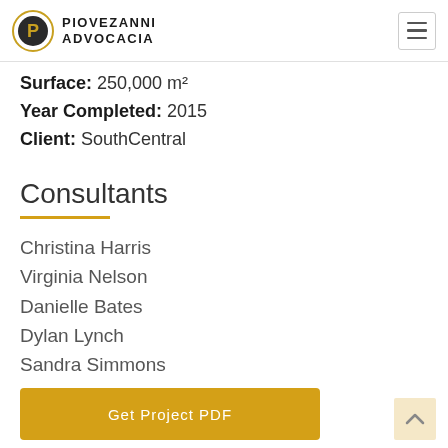PIOVEZANNI ADVOCACIA
Surface: 250,000 m²
Year Completed: 2015
Client: SouthCentral
Consultants
Christina Harris
Virginia Nelson
Danielle Bates
Dylan Lynch
Sandra Simmons
Get Project PDF